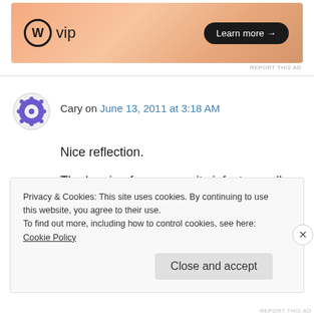[Figure (illustration): WordPress VIP advertisement banner with orange gradient background, WP logo, 'vip' text, and 'Learn more →' button]
REPORT THIS AD
Cary on June 13, 2011 at 3:18 AM
Nice reflection.
The longing for community infects us all, no matter how well we train ourselves.
↳ Reply
Privacy & Cookies: This site uses cookies. By continuing to use this website, you agree to their use.
To find out more, including how to control cookies, see here: Cookie Policy
Close and accept